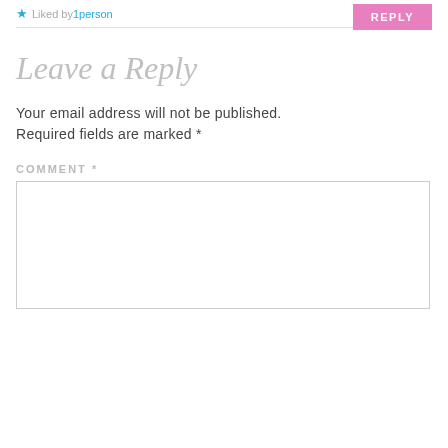Liked by 1person
REPLY
Leave a Reply
Your email address will not be published. Required fields are marked *
COMMENT *
[Figure (other): Empty comment text area input box]